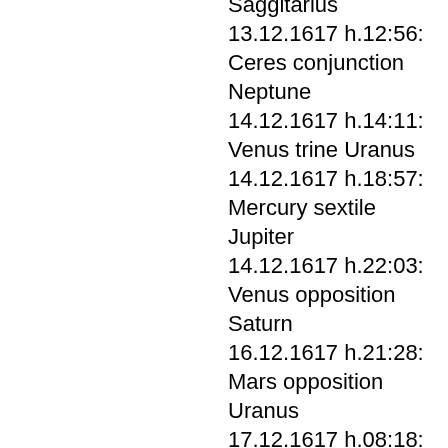Saggitarius
13.12.1617 h.12:56: Ceres conjunction Neptune
14.12.1617 h.14:11: Venus trine Uranus
14.12.1617 h.18:57: Mercury sextile Jupiter
14.12.1617 h.22:03: Venus opposition Saturn
16.12.1617 h.21:28: Mars opposition Uranus
17.12.1617 h.08:18: Mars trine Saturn
17.12.1617 h.15:49: Ceres trine Kora
18.12.1617 h.00:52: Mercury sextile Neptune
18.12.1617 h.12:12: Ceres quincunx Pluto
18.12.1617 h.22:26: Mercury opposition Kora
19.12.1617 h.03:16: Mercury quincunx Pluto
19.12.1617 h.07:45: Mercury sextile Ceres